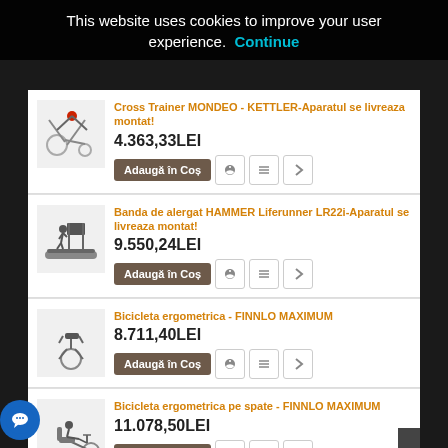This website uses cookies to improve your user experience. Continue
Cross Trainer MONDEO - KETTLER-Aparatul se livreaza montat! 4.363,33LEI
Banda de alergat HAMMER Liferunner LR22i-Aparatul se livreaza montat! 9.550,24LEI
Bicicleta ergometrica - FINNLO MAXIMUM 8.711,40LEI
Bicicleta ergometrica pe spate - FINNLO MAXIMUM 11.078,50LEI